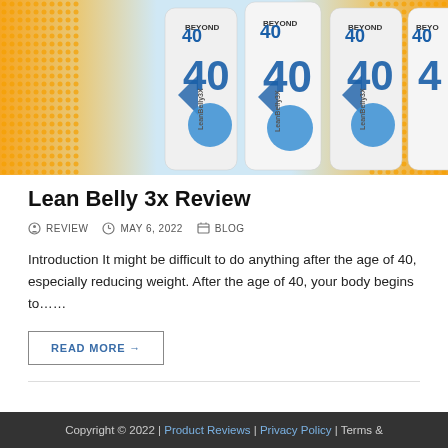[Figure (photo): Product photo of Lean Belly 3X Beyond 40 supplement bottles arranged side by side on an orange/yellow and light blue background. Bottles are white with blue branding showing '40' and 'LeanBelly3X' text.]
Lean Belly 3x Review
REVIEW   MAY 6, 2022   BLOG
Introduction It might be difficult to do anything after the age of 40, especially reducing weight. After the age of 40, your body begins to……
READ MORE →
Copyright © 2022 | Product Reviews | Privacy Policy | Terms &